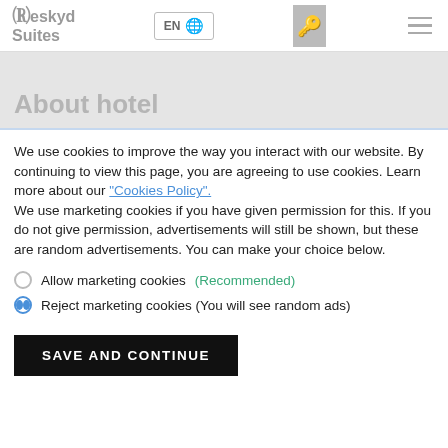Reskyd Suites | EN | [key icon] | [menu icon]
About hotel
We use cookies to improve the way you interact with our website. By continuing to view this page, you are agreeing to use cookies. Learn more about our "Cookies Policy".
We use marketing cookies if you have given permission for this. If you do not give permission, advertisements will still be shown, but these are random advertisements. You can make your choice below.
Allow marketing cookies (Recommended)
Reject marketing cookies (You will see random ads)
SAVE AND CONTINUE